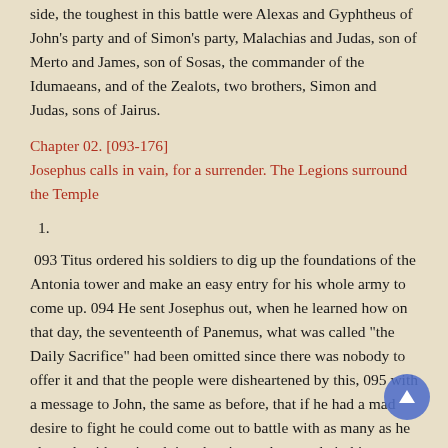side, the toughest in this battle were Alexas and Gyphtheus of John's party and of Simon's party, Malachias and Judas, son of Merto and James, son of Sosas, the commander of the Idumaeans, and of the Zealots, two brothers, Simon and Judas, sons of Jairus.
Chapter 02. [093-176]
Josephus calls in vain, for a surrender. The Legions surround the Temple
1.
093 Titus ordered his soldiers to dig up the foundations of the Antonia tower and make an easy entry for his whole army to come up. 094 He sent Josephus out, when he learned how on that day, the seventeenth of Panemus, what was called "the Daily Sacrifice" had been omitted since there was nobody to offer it and that the people were disheartened by this, 095 with a message to John, the same as before, that if he had a mad desire to fight he could come out to battle with as many as he pleased, without involving the city or the temple in his own downfall, and no longer offend God by defiling the temple. He could also, with any of the Jews he chose, resume the sacrifices which had been interrupted. 096 Standing up where he could be heard, not only by John but by many more, Josephus